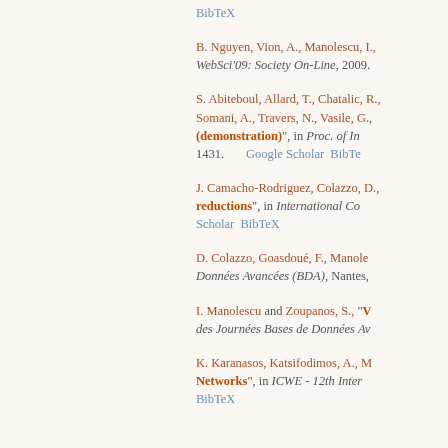BibTeX
B. Nguyen, Vion, A., Manolescu, I., WebSci'09: Society On-Line, 2009.
S. Abiteboul, Allard, T., Chatalic, R., Somani, A., Travers, N., Vasile, G., (demonstration), in Proc. of In... 1431. Google Scholar BibTeX
J. Camacho-Rodriguez, Colazzo, D., reductions, in International Co... Scholar BibTeX
D. Colazzo, Goasdoué, F., Manole... Données Avancées (BDA), Nantes,...
I. Manolescu and Zoupanos, S., "V...", des Journées Bases de Données Av...
K. Karanasos, Katsifodimos, A., M... Networks, in ICWE - 12th Inter... BibTeX